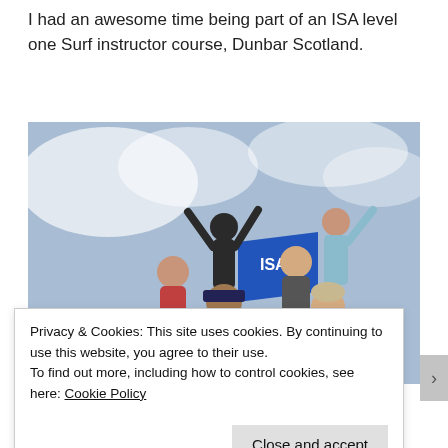I had an awesome time being part of an ISA level one Surf instructor course, Dunbar Scotland.
[Figure (photo): Group photo of surf instructor course participants posing outdoors against a cloudy sky, holding a blue ISA flag, some raising their arms, in Dunbar Scotland.]
Privacy & Cookies: This site uses cookies. By continuing to use this website, you agree to their use.
To find out more, including how to control cookies, see here: Cookie Policy
Close and accept